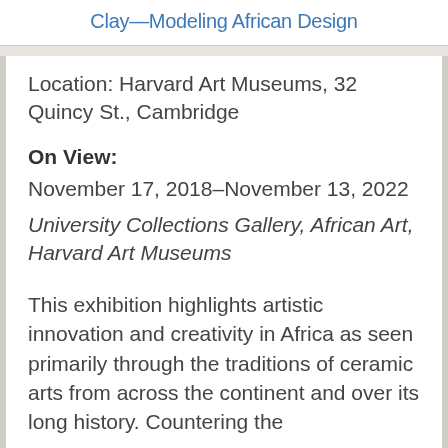Clay—Modeling African Design
Location: Harvard Art Museums, 32 Quincy St., Cambridge
On View:
November 17, 2018–November 13, 2022
University Collections Gallery, African Art, Harvard Art Museums
This exhibition highlights artistic innovation and creativity in Africa as seen primarily through the traditions of ceramic arts from across the continent and over its long history. Countering the